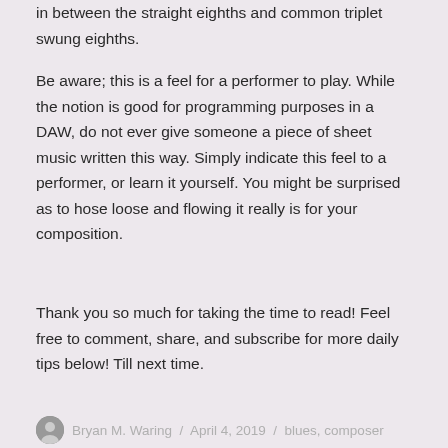in between the straight eighths and common triplet swung eighths.
Be aware; this is a feel for a performer to play. While the notion is good for programming purposes in a DAW, do not ever give someone a piece of sheet music written this way. Simply indicate this feel to a performer, or learn it yourself. You might be surprised as to hose loose and flowing it really is for your composition.
Thank you so much for taking the time to read! Feel free to comment, share, and subscribe for more daily tips below! Till next time.
Bryan M. Waring / April 4, 2019 / blues, composer